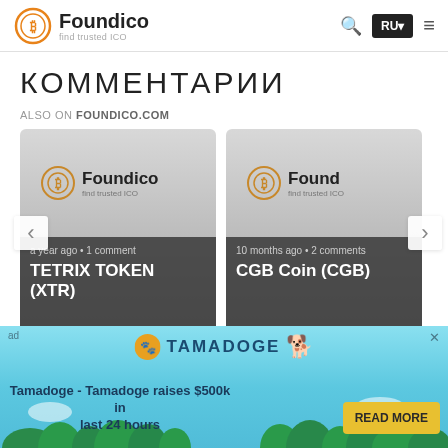Foundico — find trusted ICO | RU
КОММЕНТАРИИ
ALSO ON FOUNDICO.COM
[Figure (screenshot): Two cards showing ICO listings: TETRIX TOKEN (XTR) - a year ago - 1 comment; CGB Coin (CGB) - 10 months ago - 2 comments. Navigation arrows on sides.]
[Figure (other): Ad banner for Tamadoge — Tamadoge raises $500k in last 24 hours. READ MORE button.]